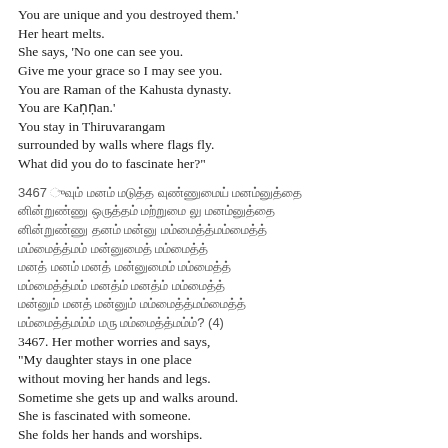You are unique and you destroyed them.'
Her heart melts.
She says, 'No one can see you.
Give me your grace so I may see you.
You are Raman of the Kahusta dynasty.
You are Kaṉṉan.'
You stay in Thiruvarangam
surrounded by walls where flags fly.
What did you do to fascinate her?"
3467 [Tamil script]
[Tamil script]
[Tamil script]
[Tamil script]
[Tamil script]
[Tamil script]
[Tamil script]
[Tamil script]? (4)
3467. Her mother worries and says,
"My daughter stays in one place
without moving her hands and legs.
Sometime she gets up and walks around.
She is fascinated with someone.
She folds her hands and worships.
She says, 'Love is trouble' and sighs.